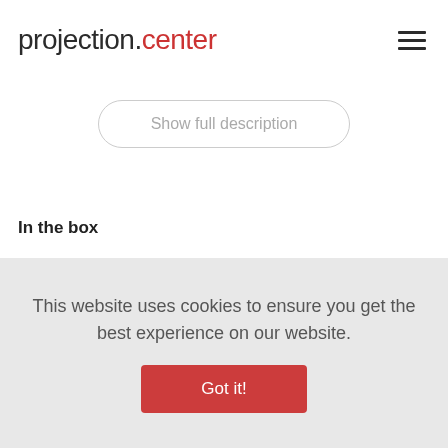projection.center
Show full description
In the box
Projector , Transport bag , Power cable , Remote
This website uses cookies to ensure you get the best experience on our website.
Got it!